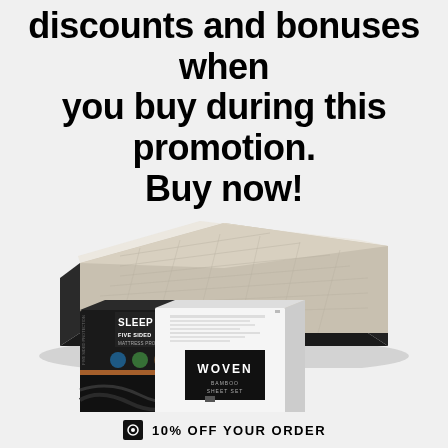discounts and bonuses when you buy during this promotion. Buy now!
[Figure (photo): Promotional image showing a foam mattress (gray/beige top with dark sides) above two product boxes: Sleep Tite Five Sided mattress protector (dark box) and Woven Bamboo Sheet Set (white box)]
10% OFF YOUR ORDER